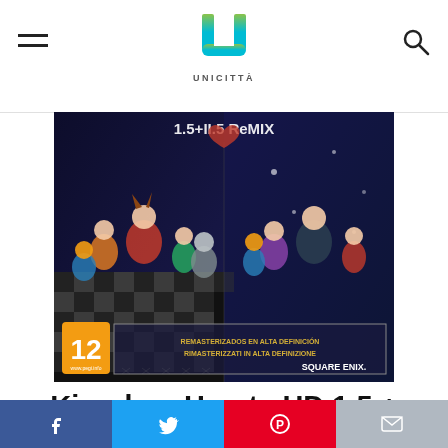UNICITTÀ
[Figure (photo): Kingdom Hearts HD 1.5 + 2.5 ReMIX game cover art showing anime-style characters on a dark background with PEGI 12 rating and Square Enix branding. Text reads 'Remasterizados en Alta Definición / Rimasterizzati in Alta Definizione'.]
Kingdom Hearts HD 1.5 + 2.5: ReMIX - PlayStation 4